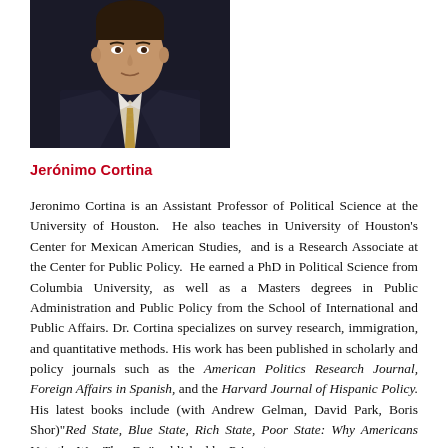[Figure (photo): Headshot of Jerónimo Cortina, a man in a dark suit with a patterned tie, against a dark background.]
Jerónimo Cortina
Jeronimo Cortina is an Assistant Professor of Political Science at the University of Houston. He also teaches in University of Houston's Center for Mexican American Studies, and is a Research Associate at the Center for Public Policy. He earned a PhD in Political Science from Columbia University, as well as a Masters degrees in Public Administration and Public Policy from the School of International and Public Affairs. Dr. Cortina specializes on survey research, immigration, and quantitative methods. His work has been published in scholarly and policy journals such as the American Politics Research Journal, Foreign Affairs in Spanish, and the Harvard Journal of Hispanic Policy. His latest books include (with Andrew Gelman, David Park, Boris Shor)"Red State, Blue State, Rich State, Poor State: Why Americans Vote the Way They Do" published by Princeton